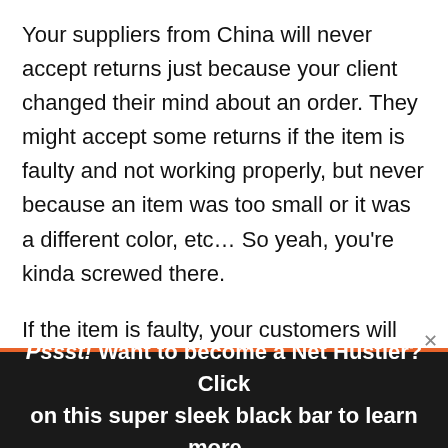Your suppliers from China will never accept returns just because your client changed their mind about an order. They might accept some returns if the item is faulty and not working properly, but never because an item was too small or it was a different color, etc… So yeah, you're kinda screwed there.
If the item is faulty, your customers will have to go to the post office and send back a package all the way to China… can you imagine the costs of that? And also what would they think when they realize they just received some poor quality item from China at a much
Pssst! Want to become a Net Hustler? Click on this super sleek black bar to learn more...